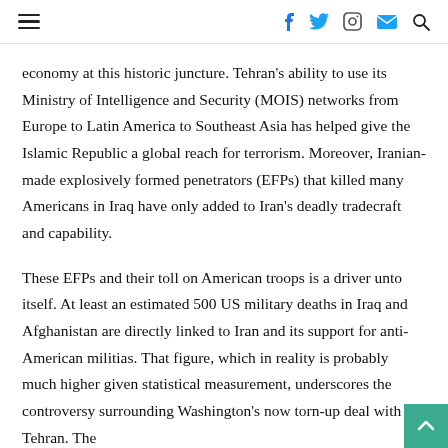≡  f  🐦  📷  ✉  🔍
economy at this historic juncture. Tehran's ability to use its Ministry of Intelligence and Security (MOIS) networks from Europe to Latin America to Southeast Asia has helped give the Islamic Republic a global reach for terrorism. Moreover, Iranian-made explosively formed penetrators (EFPs) that killed many Americans in Iraq have only added to Iran's deadly tradecraft and capability.
These EFPs and their toll on American troops is a driver unto itself. At least an estimated 500 US military deaths in Iraq and Afghanistan are directly linked to Iran and its support for anti-American militias. That figure, which in reality is probably much higher given statistical measurement, underscores the controversy surrounding Washington's now torn-up deal with Tehran. The